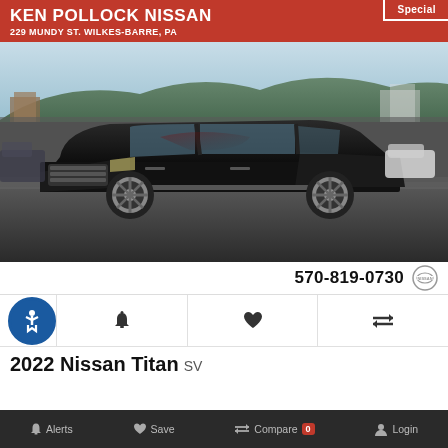KEN POLLOCK NISSAN 229 MUNDY ST. WILKES-BARRE, PA
Special
[Figure (photo): Black 2022 Nissan Titan SV pickup truck parked in a dealership lot, front 3/4 view, mountains and dealership buildings visible in background]
570-819-0730
2022 Nissan Titan SV
Alerts  Save  Compare 0  Login